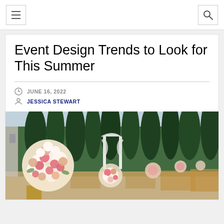Navigation bar with menu and search icons
Event Design Trends to Look for This Summer
JUNE 16, 2022
JESSICA STEWART
[Figure (photo): Outdoor event/wedding venue with large floral centerpiece arrangements of white, pink, and peach roses in the foreground, a white draped arch in the background, tall green cypress trees, and gold chairs lining an aisle.]